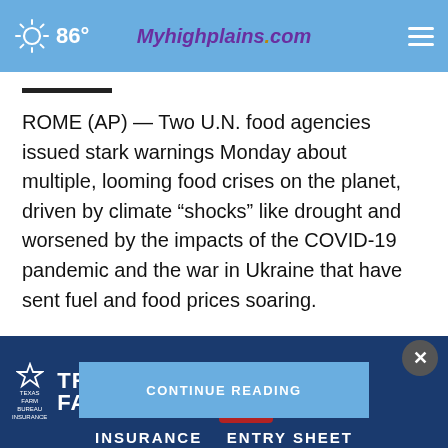86° Myhighplains.com
ROME (AP) — Two U.N. food agencies issued stark warnings Monday about multiple, looming food crises on the planet, driven by climate “shocks” like drought and worsened by the impacts of the COVID-19 pandemic and the war in Ukraine that have sent fuel and food prices soaring.
CONTINUE READING
[Figure (other): Advertisement banner for Tri-State Fair Rodeo, Sept. 16-24, Dancin' to the Dirt, sponsored by Texas Farm Bureau Insurance]